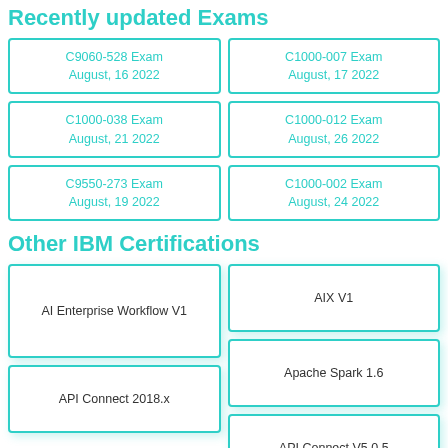Recently updated Exams
C9060-528 Exam
August, 16 2022
C1000-007 Exam
August, 17 2022
C1000-038 Exam
August, 21 2022
C1000-012 Exam
August, 26 2022
C9550-273 Exam
August, 19 2022
C1000-002 Exam
August, 24 2022
Other IBM Certifications
AI Enterprise Workflow V1
AIX V1
Apache Spark 1.6
API Connect 2018.x
API Connect V5.0.5